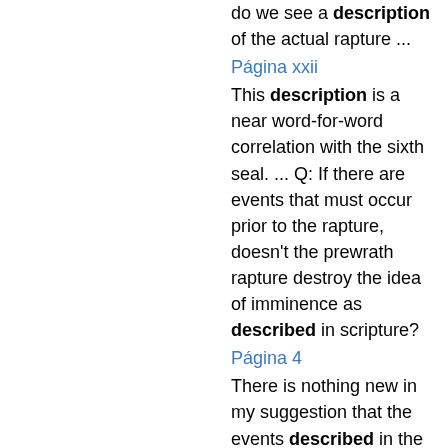do we see a description of the actual rapture ...
Página xxii
This description is a near word-for-word correlation with the sixth seal. ... Q: If there are events that must occur prior to the rapture, doesn't the prewrath rapture destroy the idea of imminence as described in scripture?
Página 4
There is nothing new in my suggestion that the events described in the Olivet Discourse are the same as the seals in Revelation. This is a view held by Renald Showers. There is nothing new in my